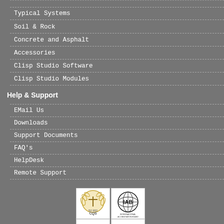Typical Systems
Soil & Rock
Concrete and Asphalt
Accessories
Clisp Studio Software
Clisp Studio Modules
Help & Support
EMail Us
Downloads
Support Documents
FAQ's
HelpDesk
Remote Support
[Figure (logo): CQS certification logo with wreath and cross symbol]
[Figure (logo): IAB International Accreditation Board globe logo]